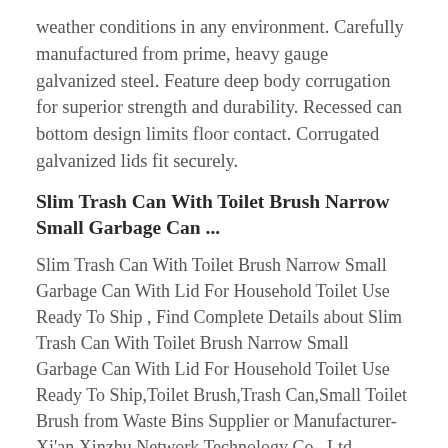weather conditions in any environment. Carefully manufactured from prime, heavy gauge galvanized steel. Feature deep body corrugation for superior strength and durability. Recessed can bottom design limits floor contact. Corrugated galvanized lids fit securely.
Slim Trash Can With Toilet Brush Narrow Small Garbage Can ...
Slim Trash Can With Toilet Brush Narrow Small Garbage Can With Lid For Household Toilet Use Ready To Ship , Find Complete Details about Slim Trash Can With Toilet Brush Narrow Small Garbage Can With Lid For Household Toilet Use Ready To Ship,Toilet Brush,Trash Can,Small Toilet Brush from Waste Bins Supplier or Manufacturer-Xi'an Xinzhu Network Technology Co., Ltd.
Amazon.com: small garbage can with lid